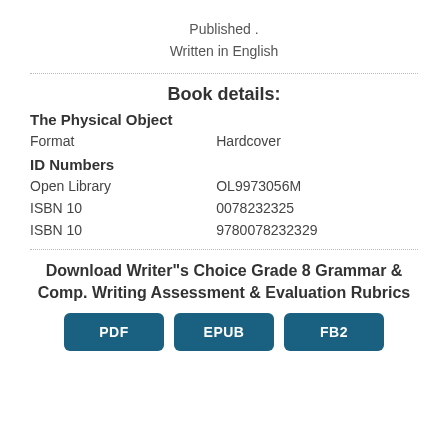Published .
Written in English
Book details:
| The Physical Object |  |
| Format | Hardcover |
| ID Numbers |  |
| Open Library | OL9973056M |
| ISBN 10 | 0078232325 |
| ISBN 10 | 9780078232329 |
Download Writer"s Choice Grade 8 Grammar & Comp. Writing Assessment & Evaluation Rubrics
PDF   EPUB   FB2